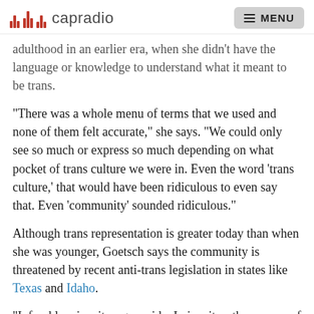capradio  MENU
adulthood in an earlier era, when she didn't have the language or knowledge to understand what it meant to be trans.
"There was a whole menu of terms that we used and none of them felt accurate," she says. "We could only see so much or express so much depending on what pocket of trans culture we were in. Even the word 'trans culture,' that would have been ridiculous to even say that. Even 'community' sounded ridiculous."
Although trans representation is greater today than when she was younger, Goetsch says the community is threatened by recent anti-trans legislation in states like Texas and Idaho.
"I, frankly, view it as genocide. I view it as the erasure of a people, which is what it is," she says. "Not only are they